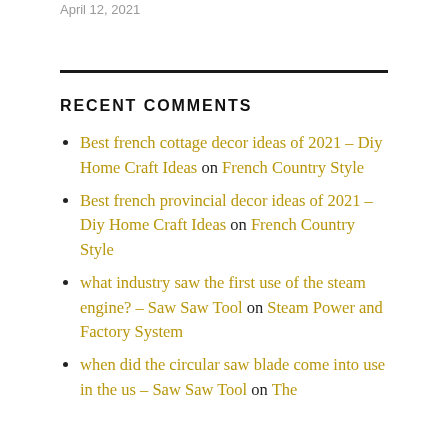April 12, 2021
RECENT COMMENTS
Best french cottage decor ideas of 2021 – Diy Home Craft Ideas on French Country Style
Best french provincial decor ideas of 2021 – Diy Home Craft Ideas on French Country Style
what industry saw the first use of the steam engine? – Saw Saw Tool on Steam Power and Factory System
when did the circular saw blade come into use in the us – Saw Saw Tool on The